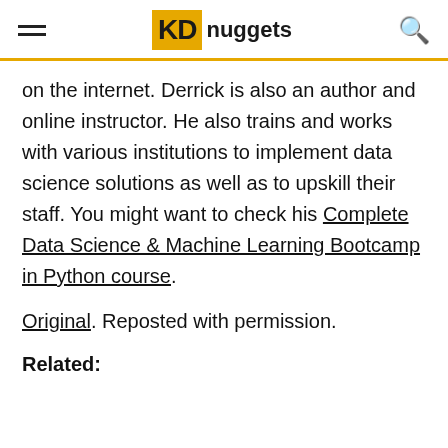KD nuggets
on the internet. Derrick is also an author and online instructor. He also trains and works with various institutions to implement data science solutions as well as to upskill their staff. You might want to check his Complete Data Science & Machine Learning Bootcamp in Python course.
Original. Reposted with permission.
Related: